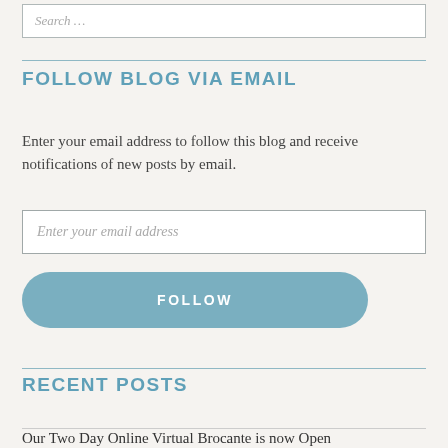Search …
FOLLOW BLOG VIA EMAIL
Enter your email address to follow this blog and receive notifications of new posts by email.
Enter your email address
FOLLOW
RECENT POSTS
Our Two Day Online Virtual Brocante is now Open